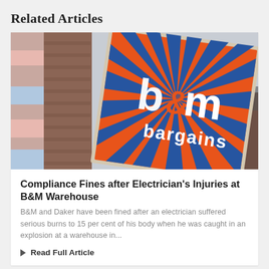Related Articles
[Figure (photo): Photograph of a B&M Bargains store sign mounted on the exterior of a brick building. The sign is square, orange background with blue radiating sunburst stripes and white text reading 'b&m bargains'.]
Compliance Fines after Electrician's Injuries at B&M Warehouse
B&M and Daker have been fined after an electrician suffered serious burns to 15 per cent of his body when he was caught in an explosion at a warehouse in...
Read Full Article